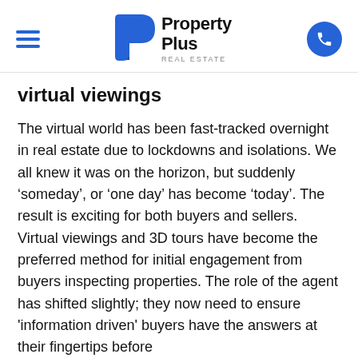Property Plus Real Estate
virtual viewings
The virtual world has been fast-tracked overnight in real estate due to lockdowns and isolations. We all knew it was on the horizon, but suddenly ‘someday’, or ‘one day’ has become ‘today’. The result is exciting for both buyers and sellers. Virtual viewings and 3D tours have become the preferred method for initial engagement from buyers inspecting properties. The role of the agent has shifted slightly; they now need to ensure 'information driven' buyers have the answers at their fingertips before they can be asked to come and see